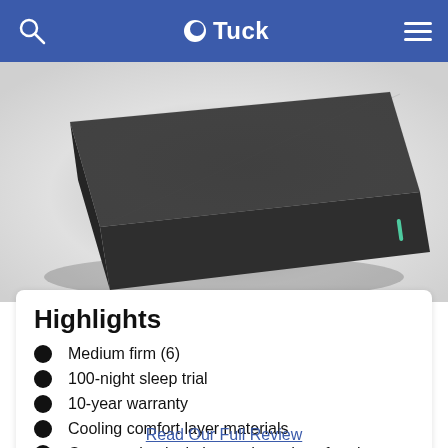Tuck
[Figure (photo): Dark gray foam mattress shown in perspective view, floating on a light gray gradient background. The mattress has a textured fabric cover and a small teal/green accent mark on the side corner.]
Highlights
Medium firm (6)
100-night sleep trial
10-year warranty
Cooling comfort layer materials
Great motion isolation and good conforming
Read Our Full Review